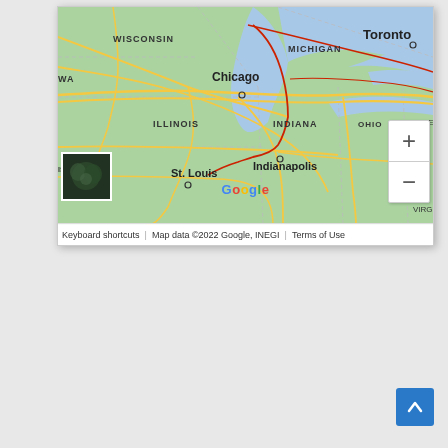[Figure (map): Google Maps screenshot showing the US Midwest region including Wisconsin, Michigan, Illinois, Indiana, Ohio, and parts of Ontario (Toronto). Shows Chicago, Indianapolis, St. Louis. Features yellow roads, blue water bodies (Great Lakes), dashed state/province borders, red route lines, zoom controls (+/-), satellite thumbnail, Google logo, and map footer with 'Keyboard shortcuts | Map data ©2022 Google, INEGI | Terms of Use'.]